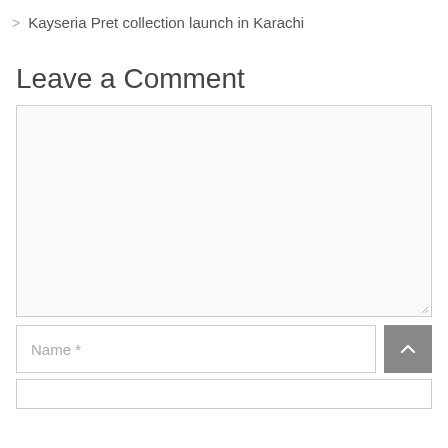> Kayseria Pret collection launch in Karachi
Leave a Comment
[Figure (screenshot): Comment form with a large textarea for comment input, a Name field with asterisk, and a scroll-to-top button]